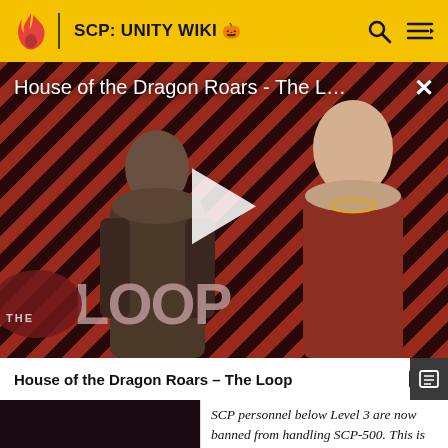SCP: UNITY WIKI 🎃
[Figure (screenshot): Video player thumbnail for 'House of the Dragon Roars - The L...' showing two characters against a diagonal red-stripe background with THE LOOP logo and a play button overlay. An X close button is in the top right.]
House of the Dragon Roars - The Loop
01
SCP personnel below Level 3 are now banned from handling SCP-500. This is